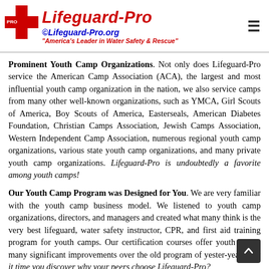Lifeguard-Pro ©Lifeguard-Pro.org "America's Leader in Water Safety & Rescue"
Prominent Youth Camp Organizations. Not only does Lifeguard-Pro service the American Camp Association (ACA), the largest and most influential youth camp organization in the nation, we also service camps from many other well-known organizations, such as YMCA, Girl Scouts of America, Boy Scouts of America, Easterseals, American Diabetes Foundation, Christian Camps Association, Jewish Camps Association, Western Independent Camp Association, numerous regional youth camp organizations, various state youth camp organizations, and many private youth camp organizations. Lifeguard-Pro is undoubtedly a favorite among youth camps!
Our Youth Camp Program was Designed for You. We are very familiar with the youth camp business model. We listened to youth camp organizations, directors, and managers and created what many think is the very best lifeguard, water safety instructor, CPR, and first aid training program for youth camps. Our certification courses offer youth camps many significant improvements over the old program of yester-year. Isn't it time you discover why your peers choose Lifeguard-Pro?